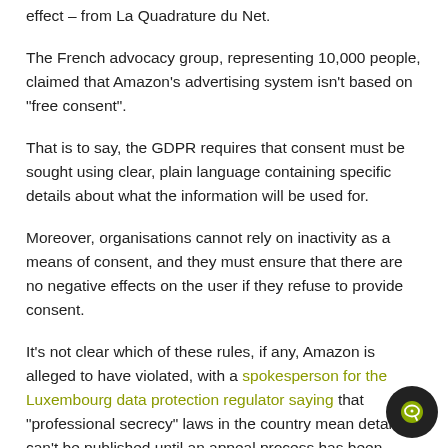effect – from La Quadrature du Net.
The French advocacy group, representing 10,000 people, claimed that Amazon's advertising system isn't based on “free consent”.
That is to say, the GDPR requires that consent must be sought using clear, plain language containing specific details about what the information will be used for.
Moreover, organisations cannot rely on inactivity as a means of consent, and they must ensure that there are no negative effects on the user if they refuse to provide consent.
It's not clear which of these rules, if any, Amazon is alleged to have violated, with a spokesperson for the Luxembourg data protection regulator saying that “professional secrecy” laws in the country mean details can't be published until an appeal process has been